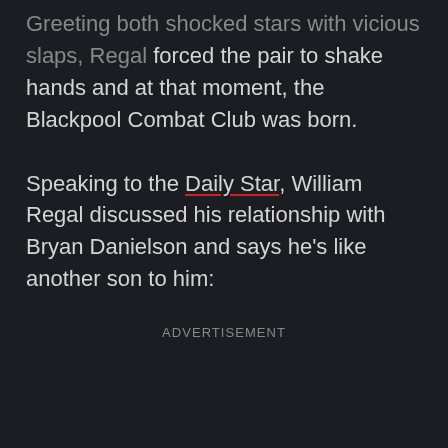…reeting both shocked stars with vicious slaps, Regal forced the pair to shake hands and at that moment, the Blackpool Combat Club was born.
Speaking to the Daily Star, William Regal discussed his relationship with Bryan Danielson and says he's like another son to him:
ADVERTISEMENT